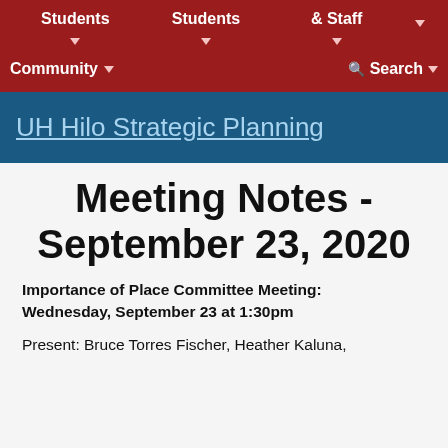Students ▼   Students ▼   & Staff ▼   ▼
Community ▼   🔍 Search ▼
UH Hilo Strategic Planning
Meeting Notes - September 23, 2020
Importance of Place Committee Meeting: Wednesday, September 23 at 1:30pm
Present: Bruce Torres Fischer, Heather Kaluna,